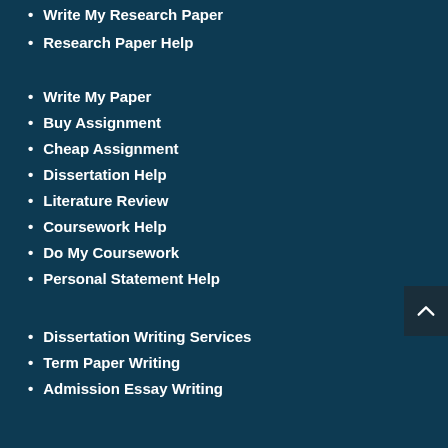Write My Research Paper
Research Paper Help
Write My Paper
Buy Assignment
Cheap Assignment
Dissertation Help
Literature Review
Coursework Help
Do My Coursework
Personal Statement Help
Dissertation Writing Services
Term Paper Writing
Admission Essay Writing